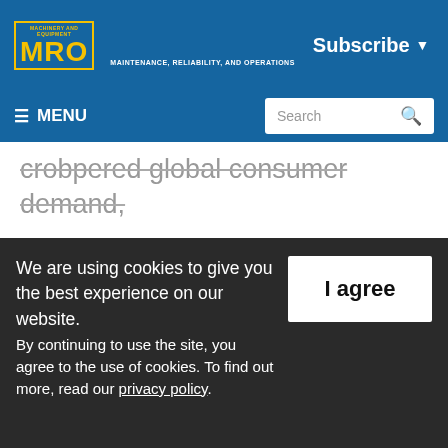MRO — MACHINERY AND EQUIPMENT — MAINTENANCE, RELIABILITY, AND OPERATIONS | Subscribe
≡ MENU | Search
crobpered global consumer demand, hampering Beijing's efforts to revive the world's second-largest economy, two surveys showed Thursday.
China became the first major economy to reopen factories in March after the ruling Communist Party declared victory over the
We are using cookies to give you the best experience on our website.
By continuing to use the site, you agree to the use of cookies. To find out more, read our privacy policy.